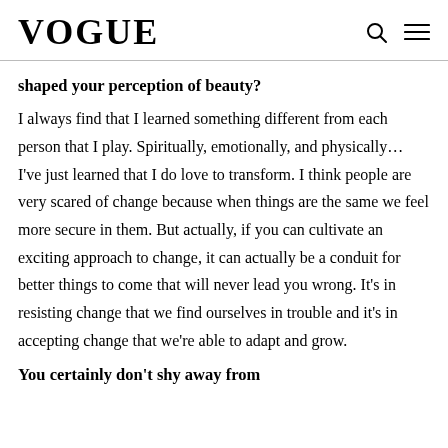VOGUE
shaped your perception of beauty?
I always find that I learned something different from each person that I play. Spiritually, emotionally, and physically… I've just learned that I do love to transform. I think people are very scared of change because when things are the same we feel more secure in them. But actually, if you can cultivate an exciting approach to change, it can actually be a conduit for better things to come that will never lead you wrong. It's in resisting change that we find ourselves in trouble and it's in accepting change that we're able to adapt and grow.
You certainly don't shy away from